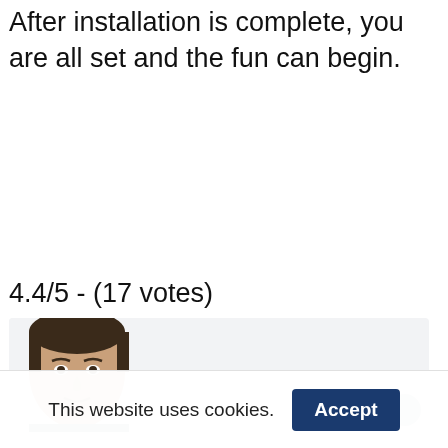After installation is complete, you are all set and the fun can begin.
4.4/5 - (17 votes)
[Figure (photo): Partial photo of a young man's face visible at the bottom of the page, cropped at the chin level, set against a light gray background card.]
This website uses cookies.
Accept